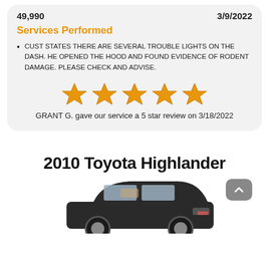49,990    3/9/2022
Services Performed
CUST STATES THERE ARE SEVERAL TROUBLE LIGHTS ON THE DASH. HE OPENED THE HOOD AND FOUND EVIDENCE OF RODENT DAMAGE. PLEASE CHECK AND ADVISE.
[Figure (other): Five gold stars rating display]
GRANT G. gave our service a 5 star review on 3/18/2022
2010 Toyota Highlander
[Figure (photo): Partial view of a 2010 Toyota Highlander SUV from the rear quarter angle, dark colored vehicle]